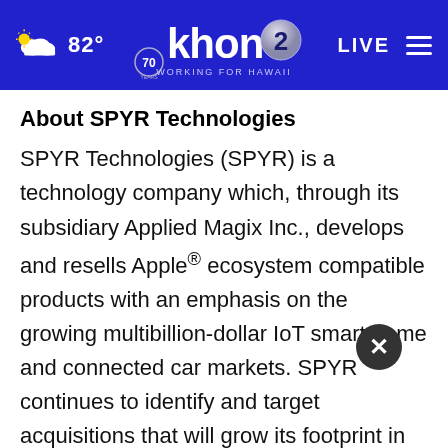KHON2 — 82° LIVE — Working for Hawaii
About SPYR Technologies
SPYR Technologies (SPYR) is a technology company which, through its subsidiary Applied Magix Inc., develops and resells Apple® ecosystem compatible products with an emphasis on the growing multibillion-dollar IoT smart home and connected car markets. SPYR continues to identify and target acquisitions that will grow its footprint in the industry and expand the products it offers consumers, including companies developing artificial